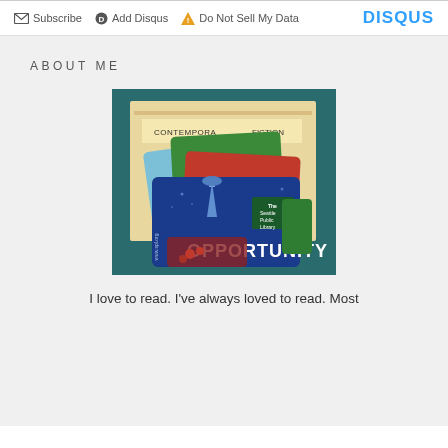Subscribe   Add Disqus   Do Not Sell My Data   DISQUS
ABOUT ME
[Figure (photo): Multiple Seattle Public Library cards fanned out, with one blue card prominently labeled OPPORTUNITY, showing the Seattle Public Library logo and building. In the background are library file folders labeled CONTEMPORARY FICTION.]
I love to read. I've always loved to read. Most